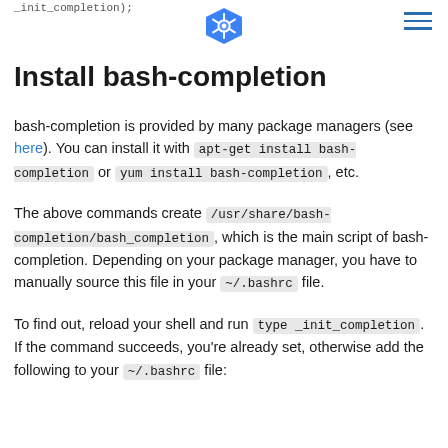_init_completion);
Install bash-completion
bash-completion is provided by many package managers (see here). You can install it with apt-get install bash-completion or yum install bash-completion, etc.
The above commands create /usr/share/bash-completion/bash_completion , which is the main script of bash-completion. Depending on your package manager, you have to manually source this file in your ~/.bashrc file.
To find out, reload your shell and run type _init_completion . If the command succeeds, you're already set, otherwise add the following to your ~/.bashrc file: